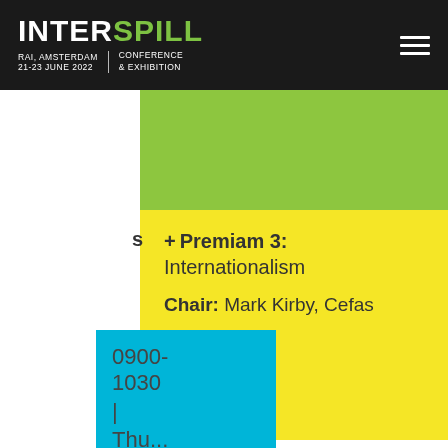INTERSPILL — RAI, AMSTERDAM 21-23 JUNE 2022 | CONFERENCE & EXHIBITION
[Figure (other): Green decorative block]
+ Premiam 3: Internationalism
Chair: Mark Kirby, Cefas
0900-1030 | Thu...